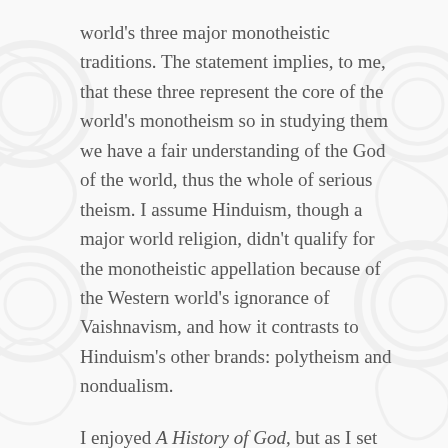world's three major monotheistic traditions. The statement implies, to me, that these three represent the core of the world's monotheism so in studying them we have a fair understanding of the God of the world, thus the whole of serious theism. I assume Hinduism, though a major world religion, didn't qualify for the monotheistic appellation because of the Western world's ignorance of Vaishnavism, and how it contrasts to Hinduism's other brands: polytheism and nondualism.
I enjoyed A History of God, but as I set down the book I was dismayed that Vaishnavism didn't receive the same rigorous treatment as the Western monotheisms because my faith problem was left squarely on my shoulders. And I'm not a scholar. (I came to see that personal